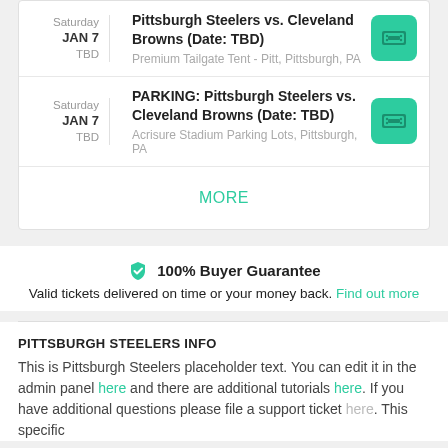Saturday JAN 7 TBD | Pittsburgh Steelers vs. Cleveland Browns (Date: TBD) | Premium Tailgate Tent - Pitt, Pittsburgh, PA
Saturday JAN 7 TBD | PARKING: Pittsburgh Steelers vs. Cleveland Browns (Date: TBD) | Acrisure Stadium Parking Lots, Pittsburgh, PA
MORE
100% Buyer Guarantee
Valid tickets delivered on time or your money back. Find out more
PITTSBURGH STEELERS INFO
This is Pittsburgh Steelers placeholder text. You can edit it in the admin panel here and there are additional tutorials here. If you have additional questions please file a support ticket here. This specific